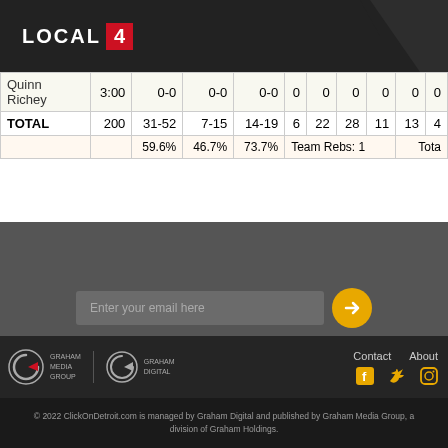LOCAL 4
| Player | Min | FG | 3PT | FT | OR | DR | REB | AS | ST | BL |
| --- | --- | --- | --- | --- | --- | --- | --- | --- | --- | --- |
| Quinn Richey | 3:00 | 0-0 | 0-0 | 0-0 | 0 | 0 | 0 | 0 | 0 | 0 |
| TOTAL | 200 | 31-52 | 7-15 | 14-19 | 6 | 22 | 28 | 11 | 13 | 4 |
|  |  | 59.6% | 46.7% | 73.7% | Team Rebs: 1 |  |  |  |  | Tota |
Get Alerts
Want the latest news and weather updates?
Enter your email here
Contact  About
© 2022 ClickOnDetroit.com is managed by Graham Digital and published by Graham Media Group, a division of Graham Holdings.